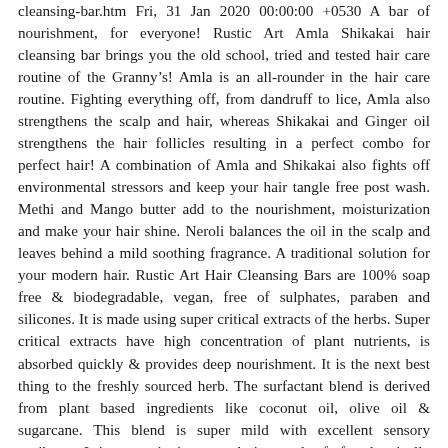cleansing-bar.htm Fri, 31 Jan 2020 00:00:00 +0530 A bar of nourishment, for everyone! Rustic Art Amla Shikakai hair cleansing bar brings you the old school, tried and tested hair care routine of the Granny&rsquo;s! Amla is an all-rounder in the hair care routine. Fighting everything off, from dandruff to lice, Amla also strengthens the scalp and hair, whereas Shikakai and Ginger oil strengthens the hair follicles resulting in a perfect combo for perfect hair! A combination of Amla and Shikakai also fights off environmental stressors and keep your hair tangle free post wash. Methi and Mango butter add to the nourishment, moisturization and make your hair shine. Neroli balances the oil in the scalp and leaves behind a mild soothing fragrance. A traditional solution for your modern hair. Rustic Art Hair Cleansing Bars are 100% soap free &amp; biodegradable, vegan, free of sulphates, paraben and silicones. It is made using super critical extracts of the herbs. Super critical extracts have high concentration of plant nutrients, is absorbed quickly &amp; provides deep nourishment. It is the next best thing to the freshly sourced herb. The surfactant blend is derived from plant based ingredients like coconut oil, olive oil &amp; sugarcane. This blend is super mild with excellent sensory attributes. It is non-stripping, non-drying, and safe for chemically treated &amp; coloured hair. The bar contains no synthetic colours or fragrances. It is pH balanced for hair wash. It can be used post oil massage. Suitable for all hair types. Water Efficient: Requires less water to rinse off, does not add toxins to rinsed off water. One